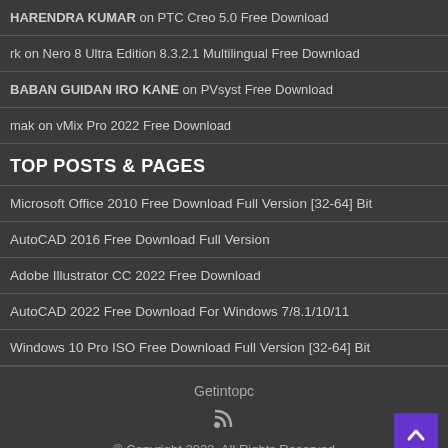HARENDRA KUMAR on PTC Creo 5.0 Free Download
rk on Nero 8 Ultra Edition 8.3.2.1 Multilingual Free Download
BABAN GUIDAN IRO KANE on PVsyst Free Download
mak on vMix Pro 2022 Free Download
TOP POSTS & PAGES
Microsoft Office 2010 Free Download Full Version [32-64] Bit
AutoCAD 2016 Free Download Full Version
Adobe Illustrator CC 2022 Free Download
AutoCAD 2022 Free Download For Windows 7/8.1/10/11
Windows 10 Pro ISO Free Download Full Version [32-64] Bit
Getintopc
© Copyright 2022, All Rights Reserved